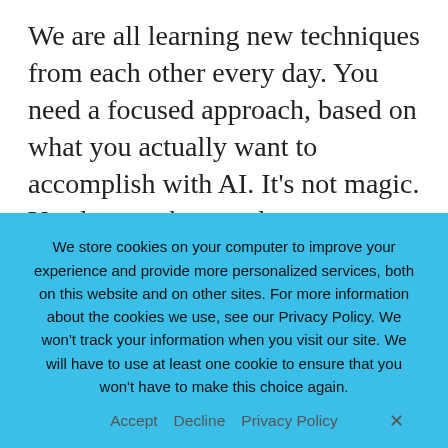We are all learning new techniques from each other every day. You need a focused approach, based on what you actually want to accomplish with AI. It's not magic. You have to know what your desired outcomes are and what problems you're trying to solve with AI. Once you start to understand the parameters of what AI can do, and what kinds of specific applications are already becoming a reality, a lot of people are pleasantly surprised by the
We store cookies on your computer to improve your experience and provide more personalized services, both on this website and on other sites. For more information about the cookies we use, see our Privacy Policy. We won't track your information when you visit our site. We will have to use at least one cookie to ensure that you won't have to make this choice again.
Accept   Decline   Privacy Policy